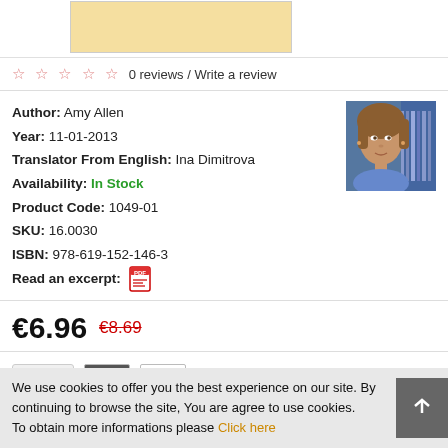[Figure (photo): Book cover placeholder - light yellow/beige rectangle]
0 reviews / Write a review
Author: Amy Allen
Year: 11-01-2013
Translator From English: Ina Dimitrova
Availability: In Stock
Product Code: 1049-01
SKU: 16.0030
ISBN: 978-619-152-146-3
Read an excerpt:
[Figure (photo): Author photo of Amy Allen - woman with brown hair in blue shirt in front of bookshelves]
€6.96  €8.69
1 (quantity selector with up/down arrows, heart button, compare button)
ADD TO CART
We use cookies to offer you the best experience on our site. By continuing to browse the site, You are agree to use cookies. To obtain more informations please Click here